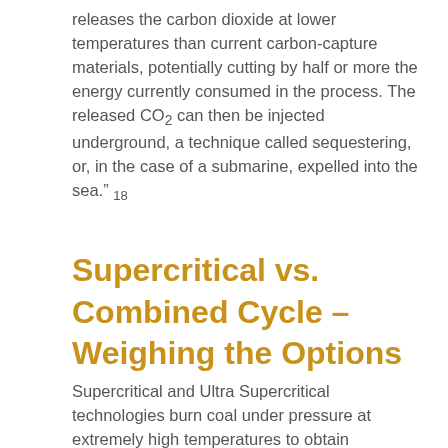releases the carbon dioxide at lower temperatures than current carbon-capture materials, potentially cutting by half or more the energy currently consumed in the process. The released CO₂ can then be injected underground, a technique called sequestering, or, in the case of a submarine, expelled into the sea." 18
Supercritical vs. Combined Cycle – Weighing the Options
Supercritical and Ultra Supercritical technologies burn coal under pressure at extremely high temperatures to obtain